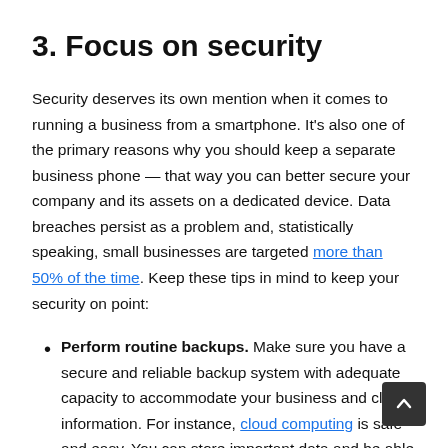3. Focus on security
Security deserves its own mention when it comes to running a business from a smartphone. It's also one of the primary reasons why you should keep a separate business phone — that way you can better secure your company and its assets on a dedicated device. Data breaches persist as a problem and, statistically speaking, small businesses are targeted more than 50% of the time. Keep these tips in mind to keep your security on point:
Perform routine backups. Make sure you have a secure and reliable backup system with adequate capacity to accommodate your business and client information. For instance, cloud computing is safe and easy. You can store important data and be able to instantly access it from anywhere — a perfect solution